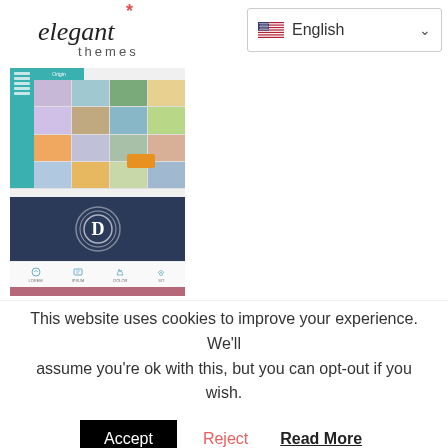[Figure (screenshot): Elegant Themes logo at top left and a language selector dropdown showing English with US flag at top right]
[Figure (screenshot): Screenshot of Elegant Themes website showing portfolio grid (Origin theme), Divi theme preview with circular D logo, icon bar, and Beautiful WordPress text on mauve background]
This website uses cookies to improve your experience. We'll assume you're ok with this, but you can opt-out if you wish.
Accept | Reject | Read More